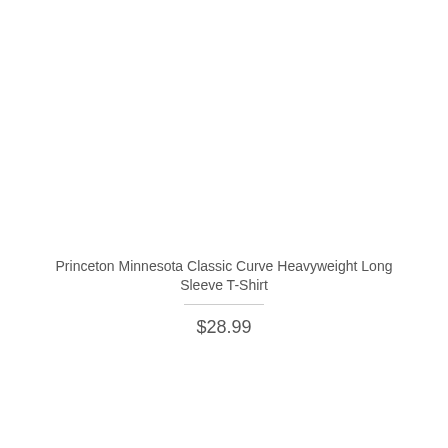Princeton Minnesota Classic Curve Heavyweight Long Sleeve T-Shirt
$28.99